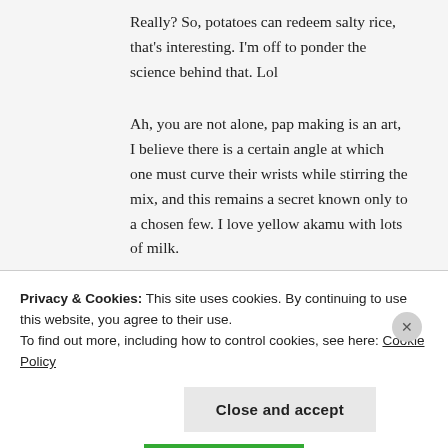Really? So, potatoes can redeem salty rice, that's interesting. I'm off to ponder the science behind that. Lol
Ah, you are not alone, pap making is an art, I believe there is a certain angle at which one must curve their wrists while stirring the mix, and this remains a secret known only to a chosen few. I love yellow akamu with lots of milk.
Thank you so much! 🙂
Have a lovely weekend.
Privacy & Cookies: This site uses cookies. By continuing to use this website, you agree to their use.
To find out more, including how to control cookies, see here: Cookie Policy
Close and accept